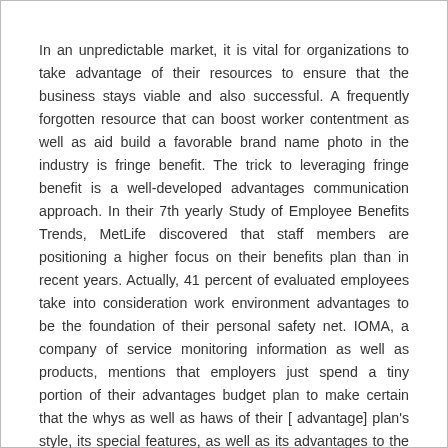In an unpredictable market, it is vital for organizations to take advantage of their resources to ensure that the business stays viable and also successful. A frequently forgotten resource that can boost worker contentment as well as aid build a favorable brand name photo in the industry is fringe benefit. The trick to leveraging fringe benefit is a well-developed advantages communication approach. In their 7th yearly Study of Employee Benefits Trends, MetLife discovered that staff members are positioning a higher focus on their benefits plan than in recent years. Actually, 41 percent of evaluated employees take into consideration work environment advantages to be the foundation of their personal safety net. IOMA, a company of service monitoring information as well as products, mentions that employers just spend a tiny portion of their advantages budget plan to make certain that the whys as well as haws of their [ advantage] plan's style, its special features, as well as its advantages to the employee are communicated to workers. With this in mind, it is essential for companies to use a planned and